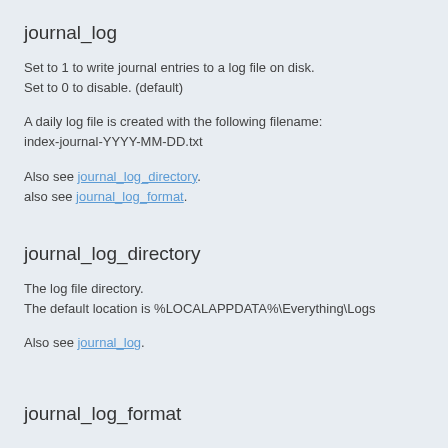journal_log
Set to 1 to write journal entries to a log file on disk.
Set to 0 to disable. (default)
A daily log file is created with the following filename:
index-journal-YYYY-MM-DD.txt
Also see journal_log_directory.
also see journal_log_format.
journal_log_directory
The log file directory.
The default location is %LOCALAPPDATA%\Everything\Logs
Also see journal_log.
journal_log_format